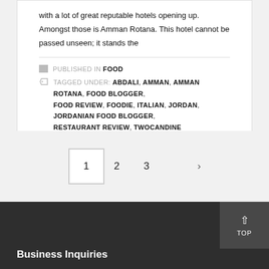with a lot of great reputable hotels opening up. Amongst those is Amman Rotana. This hotel cannot be passed unseen; it stands the
PUBLISHED IN FOOD
TAGGED UNDER: ABDALI, AMMAN, AMMAN ROTANA, FOOD BLOGGER, FOOD REVIEW, FOODIE, ITALIAN, JORDAN, JORDANIAN FOOD BLOGGER, RESTAURANT REVIEW, TWOCANDINE
1  2  3  ›
Business Inquiries
TOP